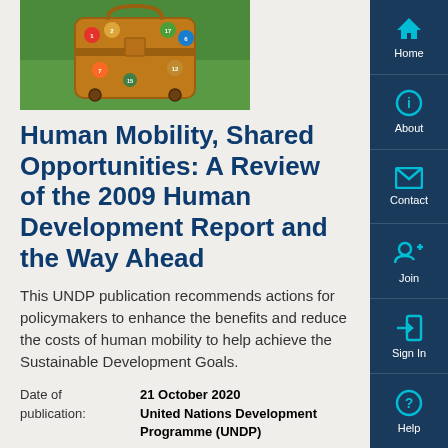[Figure (photo): Photo of a suitcase with SDG (Sustainable Development Goals) icons/stickers on grass background]
Human Mobility, Shared Opportunities: A Review of the 2009 Human Development Report and the Way Ahead
This UNDP publication recommends actions for policymakers to enhance the benefits and reduce the costs of human mobility to help achieve the Sustainable Development Goals.
Date of publication: 21 October 2020
Source: United Nations Development Programme (UNDP)
Information Type: Report